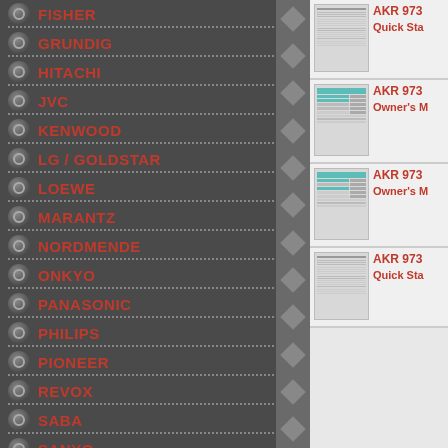FISHER
GRUNDIG
HITACHI
JVC
KENWOOD
LG / GOLDSTAR
LOEWE
MARANTZ
NORDMENDE
ONKYO
PANASONIC
PHILIPS
PIONEER
REVOX
SABA
SANYO
SCHNEIDER
SHARP
[Figure (screenshot): Thumbnail of AKR 973 Quick Start document page]
AKR 973
Quick Sta
[Figure (screenshot): Thumbnail of AKR 973 Owner's Manual page with teal table]
AKR 973
Owner's M
[Figure (screenshot): Thumbnail of AKR 973 Owner's Manual page with teal table (second)]
AKR 973
Owner's M
[Figure (screenshot): Thumbnail of AKR 973 Quick Start document page (second)]
AKR 973
Quick Sta